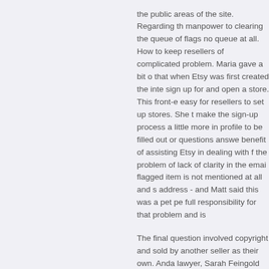the public areas of the site. Regarding th manpower to clearing the queue of flags no queue at all. How to keep resellers of complicated problem. Maria gave a bit o that when Etsy was first created the inte sign up for and open a store. This front-e easy for resellers to set up stores. She t make the sign-up process a little more in profile to be filled out or questions answe benefit of assisting Etsy in dealing with f the problem of lack of clarity in the emai flagged item is not mentioned at all and s address - and Matt said this was a pet pe full responsibility for that problem and is
The final question involved copyright and sold by another seller as their own. Anda lawyer, Sarah Feingold (a.k.a. SarahSay seriously and acts on them immediately being infringed upon, Sarah is the go-to
That wrapped up the Q&A part of the eve mingled for a couple of hours. I had an in likes to make (lamps out of guitars!) and